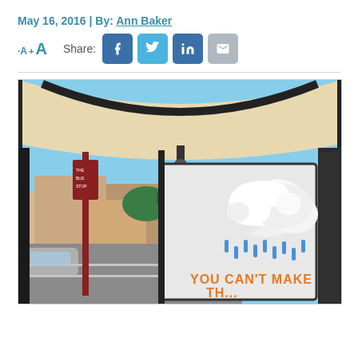May 16, 2016 | By: Ann Baker
[Figure (infographic): Toolbar with font resize buttons (smaller A + larger A) and Share label with social media icon buttons for Facebook, Twitter, LinkedIn, and Email]
[Figure (photo): Interior view of a bus stop shelter showing the ceiling, structural frame, and a large advertisement panel with a 3D sculptural cloud with blue rain drops and orange text reading YOU CAN'T MAKE THIS... at the bottom. Urban street scene with buildings and cars visible in the background.]